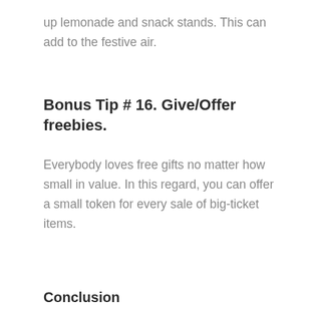up lemonade and snack stands. This can add to the festive air.
Bonus Tip # 16. Give/Offer freebies.
Everybody loves free gifts no matter how small in value. In this regard, you can offer a small token for every sale of big-ticket items.
Conclusion